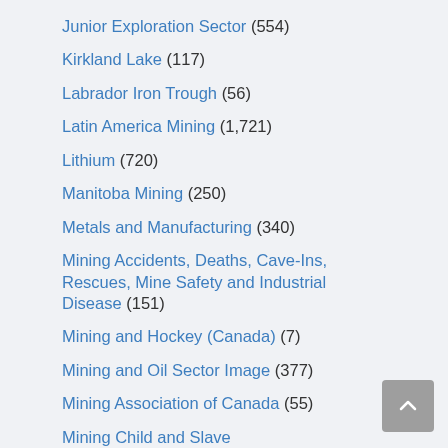Junior Exploration Sector (554)
Kirkland Lake (117)
Labrador Iron Trough (56)
Latin America Mining (1,721)
Lithium (720)
Manitoba Mining (250)
Metals and Manufacturing (340)
Mining Accidents, Deaths, Cave-Ins, Rescues, Mine Safety and Industrial Disease (151)
Mining and Hockey (Canada) (7)
Mining and Oil Sector Image (377)
Mining Association of Canada (55)
Mining Child and Slave